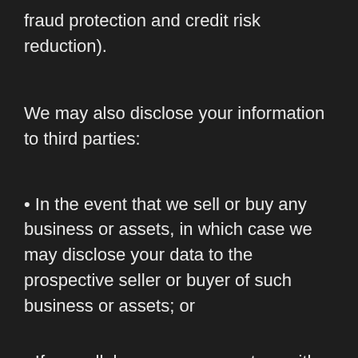fraud protection and credit risk reduction).
We may also disclose your information to third parties:
• In the event that we sell or buy any business or assets, in which case we may disclose your data to the prospective seller or buyer of such business or assets; or
• If we sell, buy, merge or partner with other companies or businesses, or sell some or all of our assets. In such transactions, user information may be among the transferred assets. In any such cases, the third party company or business will adhere to the provisions of this Privacy Policy and where it will result in a change